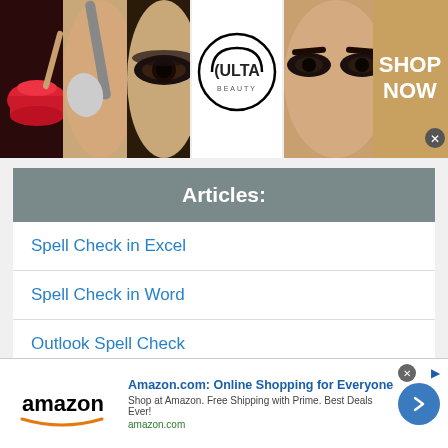[Figure (photo): Beauty/cosmetics advertisement banner showing makeup images (lips, brush, eye), Ulta Beauty logo, model eyes, and a Shop Now button]
Articles:
Spell Check in Excel
Spell Check in Word
Outlook Spell Check
WordPad Spell Check
[Figure (screenshot): Amazon.com advertisement banner: 'Amazon.com: Online Shopping for Everyone - Shop at Amazon. Free Shipping with Prime. Best Deals Ever! amazon.com' with Amazon logo and arrow button]